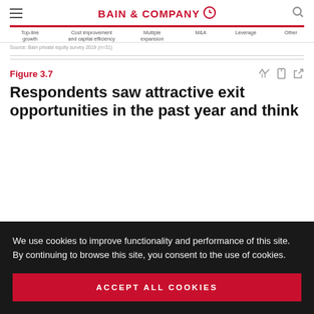BAIN & COMPANY
[Figure (bar-chart): Partial view of a bar chart with x-axis labels: Top-line growth, Cost improvement and capital efficiency, Multiple expansion, M&A, Leverage, Other. Red bar visible at top indicating highlighted/selected category.]
Source: Bain private equity survey 2019 (n=31)
Figure 3.7
Respondents saw attractive exit opportunities in the past year and think
We use cookies to improve functionality and performance of this site. By continuing to browse this site, you consent to the use of cookies.
ACCEPT ALL COOKIES